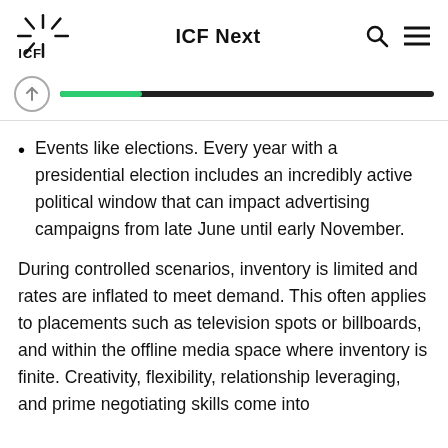ICF Next
Events like elections. Every year with a presidential election includes an incredibly active political window that can impact advertising campaigns from late June until early November.
During controlled scenarios, inventory is limited and rates are inflated to meet demand. This often applies to placements such as television spots or billboards, and within the offline media space where inventory is finite. Creativity, flexibility, relationship leveraging, and prime negotiating skills come into